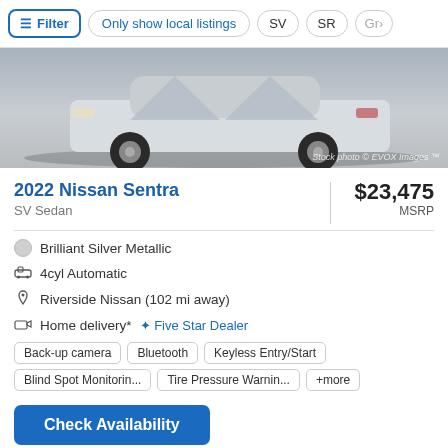Filter | Only show local listings | SV | SR | Gr>
[Figure (photo): Front/side view of a silver Nissan Sentra on white/grey background. Stock photo © EVOX Images watermark visible.]
2022 Nissan Sentra
$23,475 MSRP
SV Sedan
Brilliant Silver Metallic
4cyl Automatic
Riverside Nissan (102 mi away)
Home delivery* ☆ Five Star Dealer
Back-up camera   Bluetooth   Keyless Entry/Start
Blind Spot Monitorin...   Tire Pressure Warnin...   +more
Check Availability